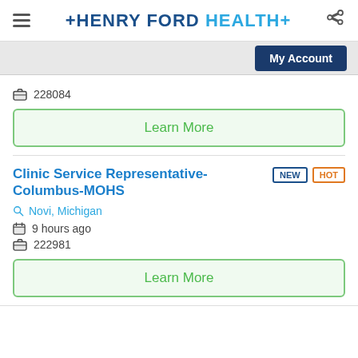HENRY FORD HEALTH
My Account
228084
Learn More
Clinic Service Representative- Columbus-MOHS
Novi, Michigan
9 hours ago
222981
Learn More